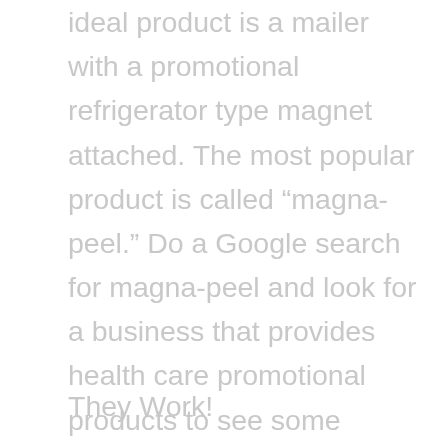ideal product is a mailer with a promotional refrigerator type magnet attached. The most popular product is called “magna-peel.” Do a Google search for magna-peel and look for a business that provides health care promotional products to see some examples. The recipient peels off the 3.5 X 4 inch magnet from the mailer. The magnet displays the business information as well as a calendar or other handy information. These magnets don’t get tossed in the trash like most conventional paper mailers. Instead they find their way to a prominent spot in the kitchen or workplace, where it is seen on a daily basis. The more people see it…the more comfortable they become with the business, remember?
They Work!